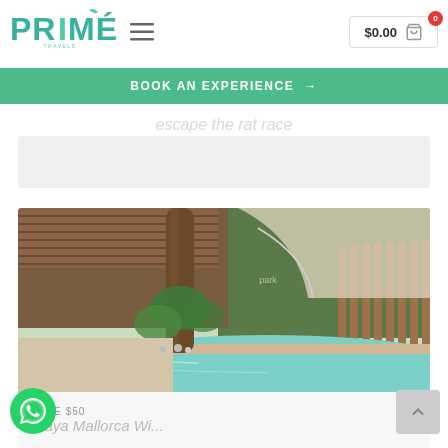[Figure (logo): Primé Travels logo in teal/green tones with stylized P and accent over the E]
for Two
escape the rat race
$0.00  0
BOOK AN EXPERIENCE →
[Figure (photo): Luxury jungle pool area with turquoise water, large tree trunk growing through the space, wooden slatted fence and curved building with wooden ceiling in background, lush tropical greenery]
SAVE $50
Maya Mallorca Wi...